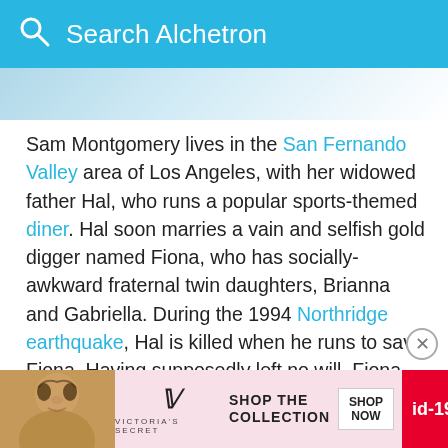Search Alchetron
[Figure (photo): Partial image strip showing a blurred/cropped photo background]
Sam Montgomery lives in the San Fernando Valley area of Los Angeles, with her widowed father Hal, who runs a popular sports-themed diner. Hal soon marries a vain and selfish gold digger named Fiona, who has socially-awkward fraternal twin daughters, Brianna and Gabriella. During the 1994 Northridge earthquake, Hal is killed when he runs to save Fiona. Having supposedly left no will, Fiona receives all of his belongings, including the house, the diner, and to her dismay, Sam.
[Figure (photo): Victoria's Secret advertisement banner with a woman model, VS logo, SHOP THE COLLECTION text, SHOP NOW button, and id-19 badge]